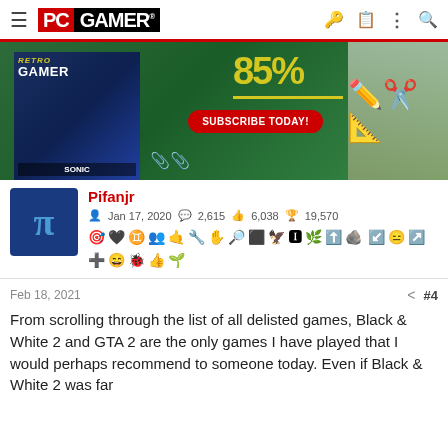PC GAMER
[Figure (photo): PC Gamer subscription advertisement banner showing Retro Gamer magazine with Sonic, school supplies, pencils and scissors on green background with '85%' and 'SUBSCRIBE TODAY!' button]
Pifanjr
Jan 17, 2020  2,615  6,038  19,570
[Figure (other): User badge/achievement icons row]
Feb 18, 2021
#4
From scrolling through the list of all delisted games, Black & White 2 and GTA 2 are the only games I have played that I would perhaps recommend to someone today. Even if Black & White 2 was far